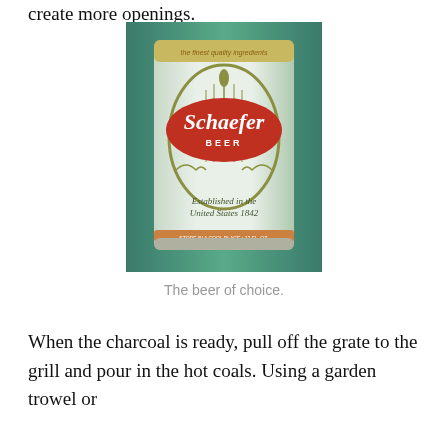create more openings.
[Figure (photo): A Schaefer Beer can with a green and white design, red oval label reading 'Schaefer BEER', text 'Established in the United States 1842' at the bottom.]
The beer of choice.
When the charcoal is ready, pull off the grate to the grill and pour in the hot coals. Using a garden trowel or